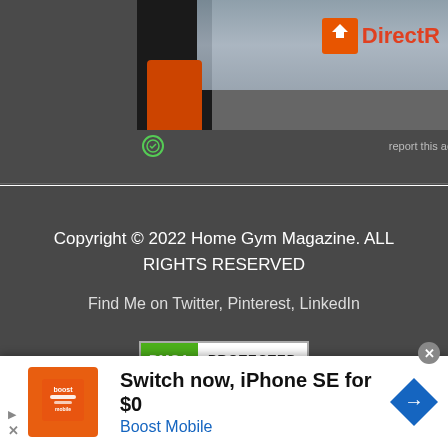[Figure (screenshot): Partial advertisement image showing a person in a black shirt with DirectR(elivery?) logo partially visible, crowd in background, with 'report this ad' link below]
Copyright © 2022 Home Gym Magazine. ALL RIGHTS RESERVED
Find Me on Twitter, Pinterest, LinkedIn
[Figure (logo): DMCA PROTECTED badge]
[Figure (screenshot): Bottom advertisement bar: Boost Mobile ad — 'Switch now, iPhone SE for $0' with Boost Mobile branding and navigation diamond icon]